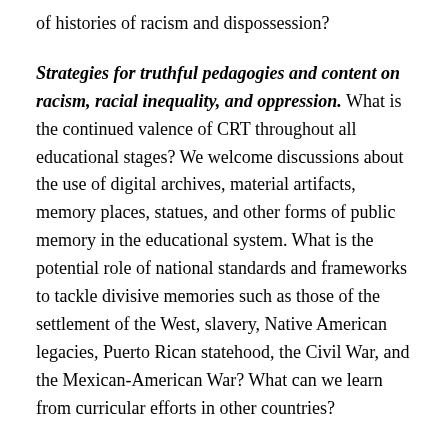of histories of racism and dispossession?
Strategies for truthful pedagogies and content on racism, racial inequality, and oppression. What is the continued valence of CRT throughout all educational stages? We welcome discussions about the use of digital archives, material artifacts, memory places, statues, and other forms of public memory in the educational system. What is the potential role of national standards and frameworks to tackle divisive memories such as those of the settlement of the West, slavery, Native American legacies, Puerto Rican statehood, the Civil War, and the Mexican-American War? What can we learn from curricular efforts in other countries?
Features of recent Republican “memory laws.” How might the introduction of such laws in the United States